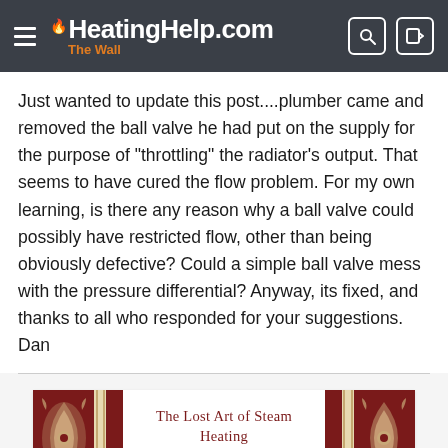HeatingHelp.com The Wall
Just wanted to update this post....plumber came and removed the ball valve he had put on the supply for the purpose of "throttling" the radiator's output. That seems to have cured the flow problem. For my own learning, is there any reason why a ball valve could possibly have restricted flow, other than being obviously defective? Could a simple ball valve mess with the pressure differential? Anyway, its fixed, and thanks to all who responded for your suggestions. Dan
[Figure (other): Advertisement banner for 'The Lost Art of Steam Heating Revisited' book with ornamental red and cream decorative imagery on left and right sides]